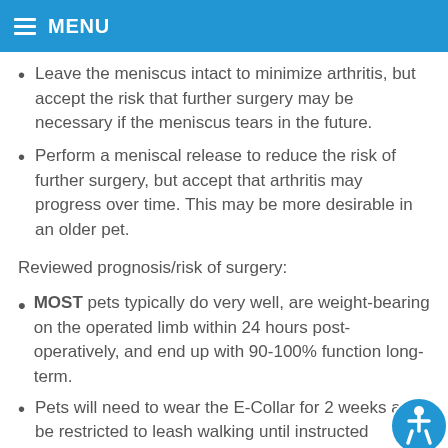MENU
Leave the meniscus intact to minimize arthritis, but accept the risk that further surgery may be necessary if the meniscus tears in the future.
Perform a meniscal release to reduce the risk of further surgery, but accept that arthritis may progress over time. This may be more desirable in an older pet.
Reviewed prognosis/risk of surgery:
MOST pets typically do very well, are weight-bearing on the operated limb within 24 hours post-operatively, and end up with 90-100% function long-term.
Pets will need to wear the E-Collar for 2 weeks and be restricted to leash walking until instructed